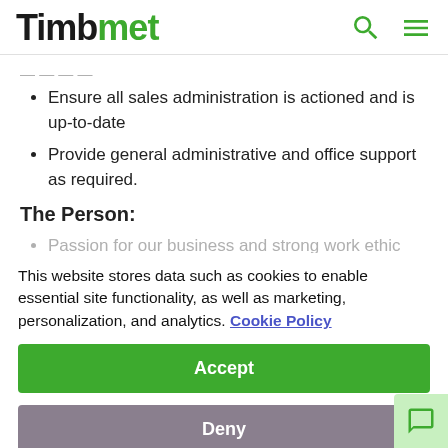Timbmet
Ensure all sales administration is actioned and is up-to-date
Provide general administrative and office support as required.
The Person:
Passion for our business and strong work ethic
...ility
Ability to learn quickly, respond to changing demands, embrace and implement new ideas in a fluid and growing operation
Excellent communication, organisational and problem solving skills
This website stores data such as cookies to enable essential site functionality, as well as marketing, personalization, and analytics. Cookie Policy
Accept
Deny